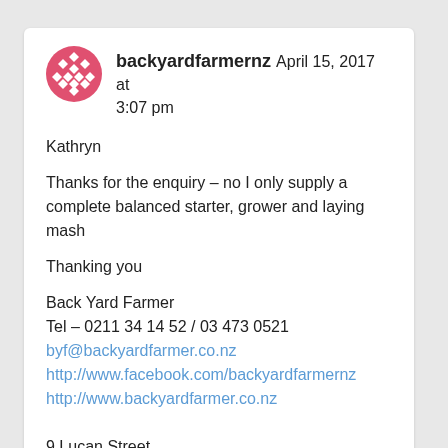[Figure (logo): Round red/pink logo with diamond grid pattern (backyardfarmernz avatar)]
backyardfarmernz April 15, 2017 at 3:07 pm
Kathryn
Thanks for the enquiry – no I only supply a complete balanced starter, grower and laying mash
Thanking you
Back Yard Farmer
Tel – 0211 34 14 52 / 03 473 0521
byf@backyardfarmer.co.nz
http://www.facebook.com/backyardfarmernz
http://www.backyardfarmer.co.nz
9 Lucan Street
North East Valley
Dunedin 9010
Otago